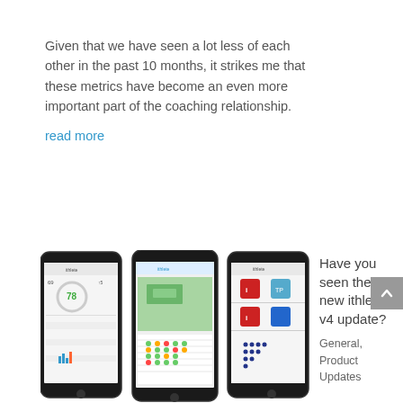Given that we have seen a lot less of each other in the past 10 months, it strikes me that these metrics have become an even more important part of the coaching relationship. read more
[Figure (screenshot): Three smartphone screens showing the ithlete v4 app interface with fitness tracking metrics, maps, and charts]
Have you seen the new ithlete v4 update? General, Product Updates